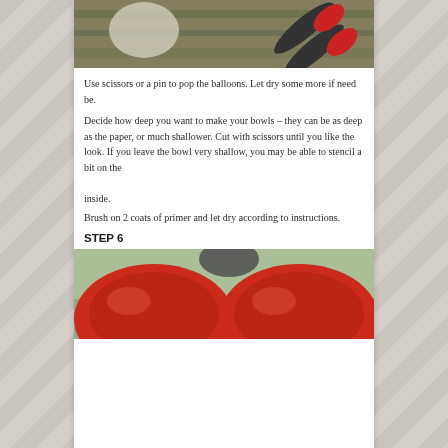[Figure (photo): Photo of scissors with red handles on a painted surface]
Use scissors or a pin to pop the balloons. Let dry some more if need be.
Decide how deep you want to make your bowls – they can be as deep as the paper, or much shallower. Cut with scissors until you like the look. If you leave the bowl very shallow, you may be able to stencil a bit on the inside.
Brush on 2 coats of primer and let dry according to instructions.
STEP 6
[Figure (photo): Photo of red balloon paper mache bowls on a painted surface]